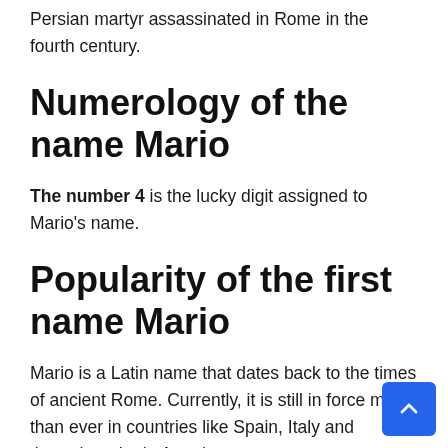Persian martyr assassinated in Rome in the fourth century.
Numerology of the name Mario
The number 4 is the lucky digit assigned to Mario's name.
Popularity of the first name Mario
Mario is a Latin name that dates back to the times of ancient Rome. Currently, it is still in force more than ever in countries like Spain, Italy and throughout Latin America.